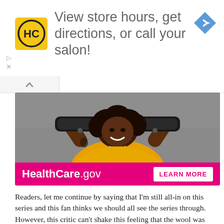[Figure (infographic): HC (Haircuttery) logo ad banner: yellow square logo with 'HC' text, ad text 'View store hours, get directions, or call your salon!', blue diamond navigation icon, with play/close controls and chevron collapse button]
[Figure (infographic): HealthCare.gov advertisement showing a smiling woman with curly hair holding a skateboard above her head, wearing a yellow t-shirt, with pink footer bar showing 'HealthCare.gov' and 'LEARN MORE' button]
Readers, let me continue by saying that I'm still all-in on this series and this fan thinks we should all see the series through. However, this critic can't shake this feeling that the wool was thrown over my eyes. I spent